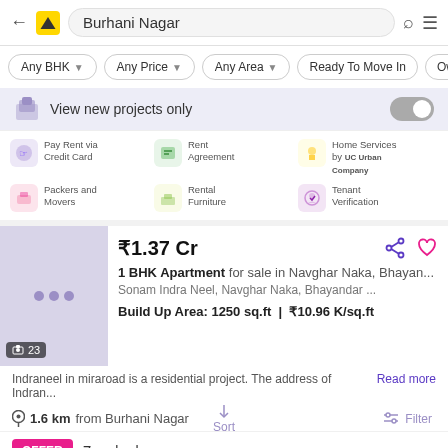Burhani Nagar
Any BHK
Any Price
Any Area
Ready To Move In
Owner
View new projects only
Pay Rent via Credit Card
Rent Agreement
Home Services by Urban Company
Packers and Movers
Rental Furniture
Tenant Verification
₹1.37 Cr
1 BHK Apartment for sale in Navghar Naka, Bhayan...
Sonam Indra Neel, Navghar Naka, Bhayandar ...
Build Up Area: 1250 sq.ft  |  ₹10.96 K/sq.ft
Indraneel in miraroad is a residential project. The address of Indran... Read more
1.6 km from Burhani Nagar
OFFER  Zero brokerage